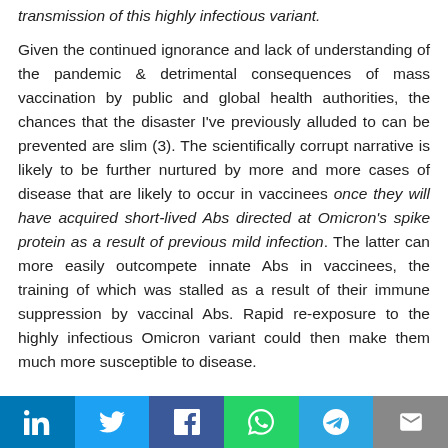transmission of this highly infectious variant.
Given the continued ignorance and lack of understanding of the pandemic & detrimental consequences of mass vaccination by public and global health authorities, the chances that the disaster I've previously alluded to can be prevented are slim (3). The scientifically corrupt narrative is likely to be further nurtured by more and more cases of disease that are likely to occur in vaccinees once they will have acquired short-lived Abs directed at Omicron's spike protein as a result of previous mild infection. The latter can more easily outcompete innate Abs in vaccinees, the training of which was stalled as a result of their immune suppression by vaccinal Abs. Rapid re-exposure to the highly infectious Omicron variant could then make them much more susceptible to disease.
Social share bar: LinkedIn, Twitter, Facebook, WhatsApp, Telegram, Email